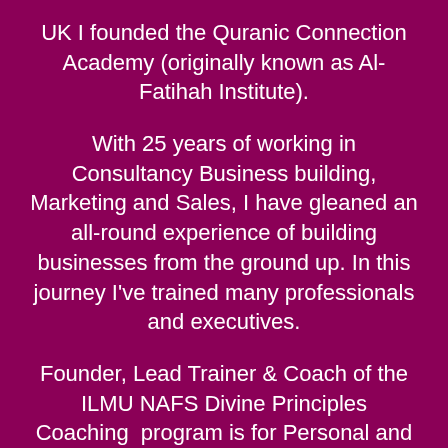UK I founded the Quranic Connection Academy (originally known as Al-Fatihah Institute).
With 25 years of working in Consultancy Business building, Marketing and Sales, I have gleaned an all-round experience of building businesses from the ground up. In this journey I've trained many professionals and executives.
Founder, Lead Trainer & Coach of the ILMU NAFS Divine Principles Coaching program is for Personal and Business transformation.
Have spent more than 20 years in the pursuit of knowledge and training in various modalities of